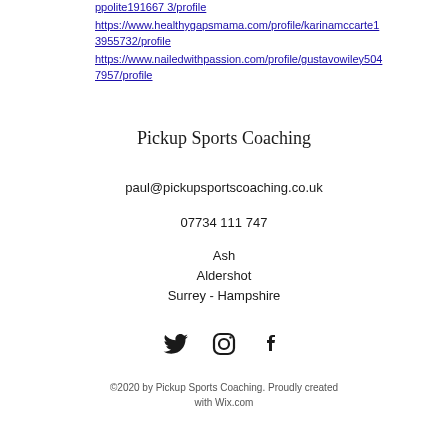ppolite191667 3/profile https://www.healthygapsmama.com/profile/karinamccarte13955732/profile https://www.nailedwithpassion.com/profile/gustavowiley5047957/profile
Pickup Sports Coaching
paul@pickupsportscoaching.co.uk
07734 111 747
Ash
Aldershot
Surrey - Hampshire
[Figure (illustration): Social media icons: Twitter bird icon, Instagram camera icon, Facebook f icon]
©2020 by Pickup Sports Coaching. Proudly created with Wix.com